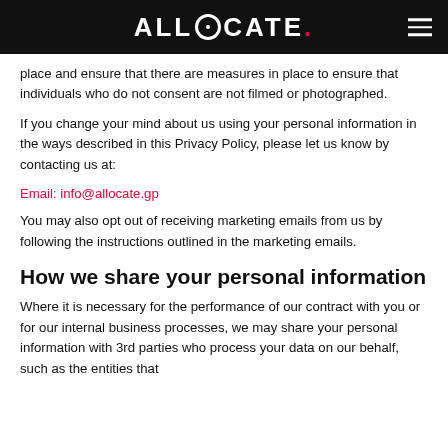ALLOCATE.
place and ensure that there are measures in place to ensure that individuals who do not consent are not filmed or photographed.
If you change your mind about us using your personal information in the ways described in this Privacy Policy, please let us know by contacting us at:
Email: info@allocate.gp
You may also opt out of receiving marketing emails from us by following the instructions outlined in the marketing emails.
How we share your personal information
Where it is necessary for the performance of our contract with you or for our internal business processes, we may share your personal information with 3rd parties who process your data on our behalf, such as the entities that